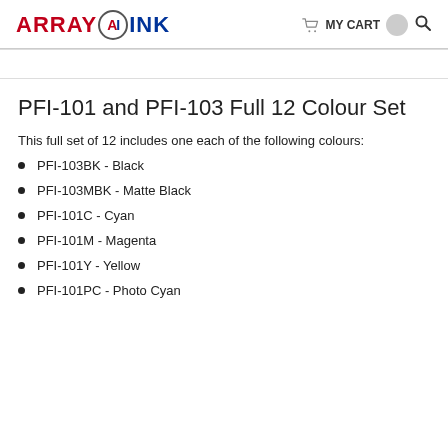ARRAY AI INK  MY CART
PFI-101 and PFI-103 Full 12 Colour Set
This full set of 12 includes one each of the following colours:
PFI-103BK - Black
PFI-103MBK - Matte Black
PFI-101C - Cyan
PFI-101M - Magenta
PFI-101Y - Yellow
PFI-101PC - Photo Cyan